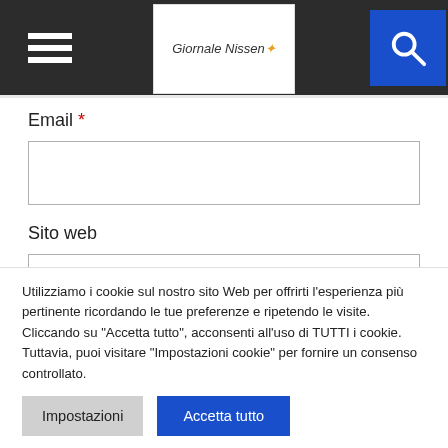Giornale Nissen — navigation bar with hamburger menu and search button
Email *
Sito web
Utilizziamo i cookie sul nostro sito Web per offrirti l'esperienza più pertinente ricordando le tue preferenze e ripetendo le visite. Cliccando su "Accetta tutto", acconsenti all'uso di TUTTI i cookie. Tuttavia, puoi visitare "Impostazioni cookie" per fornire un consenso controllato.
Impostazioni
Accetta tutto